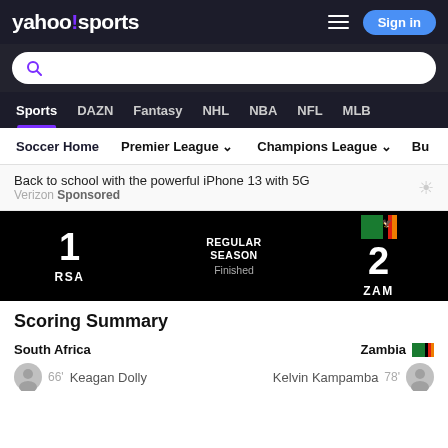yahoo!sports
Sign in
Sports DAZN Fantasy NHL NBA NFL MLB
Soccer Home  Premier League  Champions League  Bu
Back to school with the powerful iPhone 13 with 5G
Verizon Sponsored
RSA 1  REGULAR SEASON Finished  2 ZAM
Scoring Summary
South Africa
Zambia
66'  Keagan Dolly
Kelvin Kampamba  78'